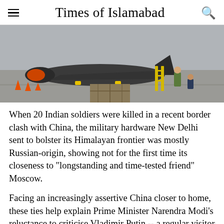Times of Islamabad
[Figure (photo): Military aircraft (fighter jet) on a tarmac with ground crew workers nearby and a yellow maintenance ladder; wooden crates visible on the airfield]
When 20 Indian soldiers were killed in a recent border clash with China, the military hardware New Delhi sent to bolster its Himalayan frontier was mostly Russian-origin, showing not for the first time its closeness to "longstanding and time-tested friend" Moscow.
Facing an increasingly assertive China closer to home, these ties help explain Prime Minister Narendra Modi's reluctance to criticise Vladimir Putin -- a regular visitor -- over the Ukraine